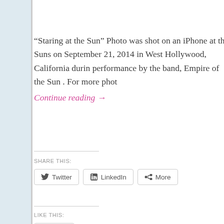“Staring at the Sun” Photo was shot on an iPhone at the Suns on September 21, 2014 in West Hollywood, California during performance by the band, Empire of the Sun . For more phot
Continue reading →
SHARE THIS:
Twitter  LinkedIn  More
LIKE THIS:
Like
Be the first to like this.
POSTED IN FILM, ART, MUSIC, PHOTOGRAPHY, PHOTOGRAPHY, FILM ROCK, APPLE IPHONE PHOTOGRAPHY, AUSTRALIA, AUSTRALIAN ART EDM, ELECTRONIC DANCE MUSIC, ELECTRONIC MUSIC, ELECTRONIC